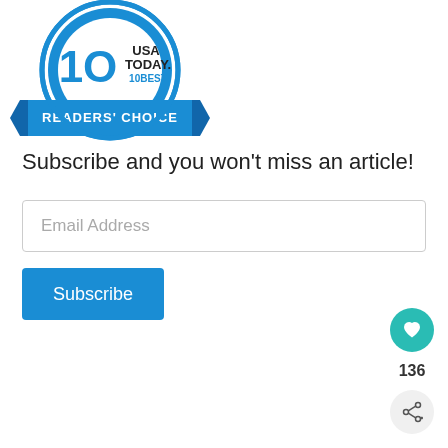[Figure (logo): USA Today 10Best Readers' Choice award badge — circular blue and white badge with '10' in center, 'USA TODAY' and '10BEST' text, and blue ribbon banner reading 'READERS' CHOICE']
Subscribe and you won't miss an article!
Email Address
Subscribe
136